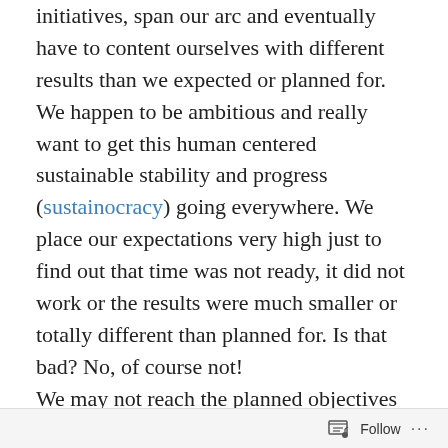initiatives, span our arc and eventually have to content ourselves with different results than we expected or planned for. We happen to be ambitious and really want to get this human centered sustainable stability and progress (sustainocracy) going everywhere. We place our expectations very high just to find out that time was not ready, it did not work or the results were much smaller or totally different than planned for. Is that bad? No, of course not!

We may not reach the planned objectives but what we do achieve is quite impressive. We have to remember that we are not conducting a business. We address the complex transformation of society from one paradigm to another. We experiment with creating harmonic relationships and
Follow ···